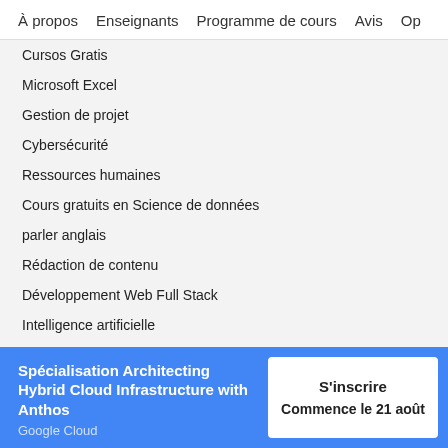À propos    Enseignants    Programme de cours    Avis    Op
Cursos Gratis
Microsoft Excel
Gestion de projet
Cybersécurité
Ressources humaines
Cours gratuits en Science de données
parler anglais
Rédaction de contenu
Développement Web Full Stack
Intelligence artificielle
Programmation en C
Spécialisation Architecting Hybrid Cloud Infrastructure with Anthos
Google Cloud
S'inscrire
Commence le 21 août